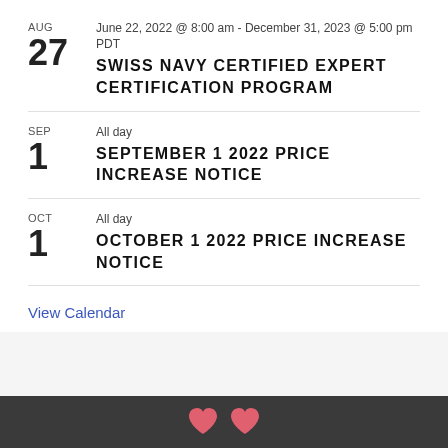AUG 27 — June 22, 2022 @ 8:00 am - December 31, 2023 @ 5:00 pm PDT — SWISS NAVY CERTIFIED EXPERT CERTIFICATION PROGRAM
SEP 1 — All day — SEPTEMBER 1 2022 PRICE INCREASE NOTICE
OCT 1 — All day — OCTOBER 1 2022 PRICE INCREASE NOTICE
View Calendar
[Figure (illustration): Dark footer bar with two pink/red heart icons partially visible at bottom of page]